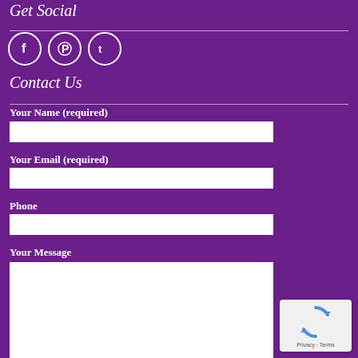Get Social
[Figure (illustration): Social media icons: Facebook, Pinterest, Twitter in white circles on purple background]
Contact Us
Your Name (required)
Your Email (required)
Phone
Your Message
[Figure (other): reCAPTCHA widget with spinning arrows icon and Privacy-Terms text]